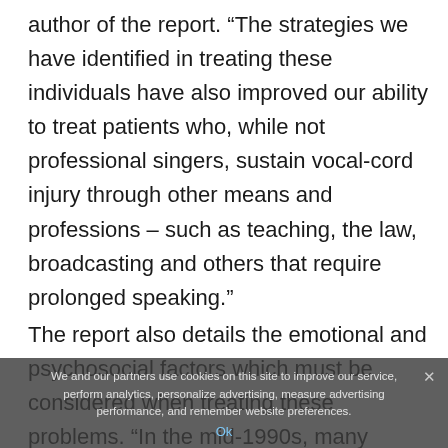author of the report. “The strategies we have identified in treating these individuals have also improved our ability to treat patients who, while not professional singers, sustain vocal-cord injury through other means and professions – such as teaching, the law, broadcasting and others that require prolonged speaking.”
The report also details the emotional and psychosocial factors which must be considered when treating these problems. “In the mid-1990s, many singers were reluctant to undergo surgical treatment for fear of making their condition worse,” says Zeitels. “Now with the prominence of celebrity, many of these patients, many choose to tell their story publicly and encourage others to see a physician when their vocal